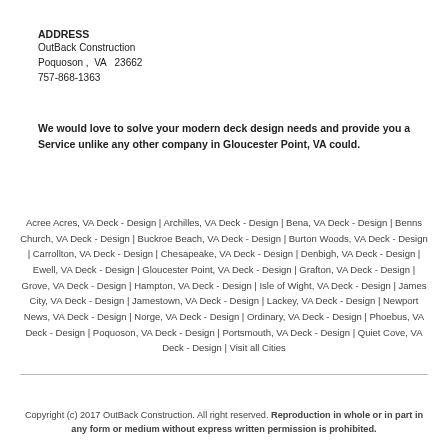ADDRESS
OutBack Construction
Poquoson ,  VA  23662
757-868-1363
We would love to solve your modern deck design needs and provide you a Service unlike any other company in Gloucester Point, VA could.
Acree Acres, VA Deck - Design | Archilles, VA Deck - Design | Bena, VA Deck - Design | Benns Church, VA Deck - Design | Buckroe Beach, VA Deck - Design | Burton Woods, VA Deck - Design | Carrollton, VA Deck - Design | Chesapeake, VA Deck - Design | Denbigh, VA Deck - Design | Ewell, VA Deck - Design | Gloucester Point, VA Deck - Design | Grafton, VA Deck - Design | Grove, VA Deck - Design | Hampton, VA Deck - Design | Isle of Wight, VA Deck - Design | James City, VA Deck - Design | Jamestown, VA Deck - Design | Lackey, VA Deck - Design | Newport News, VA Deck - Design | Norge, VA Deck - Design | Ordinary, VA Deck - Design | Phoebus, VA Deck - Design | Poquoson, VA Deck - Design | Portsmouth, VA Deck - Design | Quiet Cove, VA Deck - Design | Visit all Cities
Copyright (c) 2017 OutBack Construction. All right reserved. Reproduction in whole or in part in any form or medium without express written permission is prohibited.